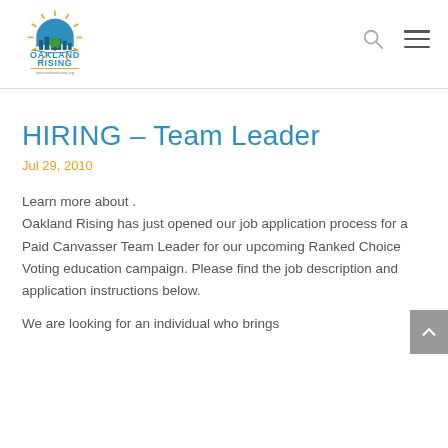[Figure (logo): Oakland Rising logo with sunburst, city skyline, and tree above text OAKLAND RISING and www.oaklandrising.org]
HIRING – Team Leader
Jul 29, 2010
Learn more about .
Oakland Rising has just opened our job application process for a Paid Canvasser Team Leader for our upcoming Ranked Choice Voting education campaign.  Please find the job description and application instructions below.

We are looking for an individual who brings
[Figure (other): Scroll to top button with upward chevron arrow, gray background]